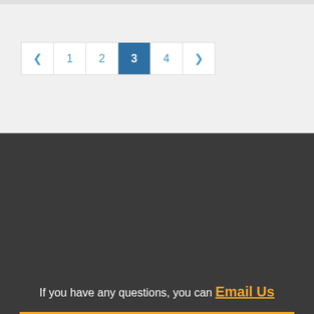[Figure (screenshot): Pagination control showing pages 1, 2, 3 (active/highlighted in blue), 4 with prev/next arrows]
If you have any questions, you can Email Us
GET IN TOUCH
[Figure (logo): WhatsApp green circle button icon]
[Figure (logo): Homework Joy logo with orange book icon and text 'omework Joy - Study with Satisfaction']